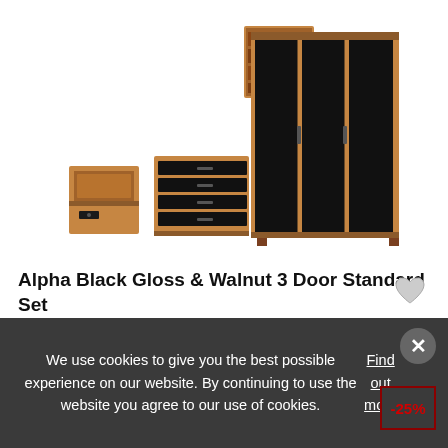[Figure (photo): Bedroom furniture set: Alpha Black Gloss & Walnut 3 Door Standard Set showing a large 3-door wardrobe with black gloss fronts and walnut surround, a chest of 4 drawers, a bedside cabinet, and an overhead storage unit]
Alpha Black Gloss & Walnut 3 Door Standard Set
£198.00  RRP £264.00
OR £3.42 per week 0% APR
We use cookies to give you the best possible experience on our website. By continuing to use the website you agree to our use of cookies. Find out more